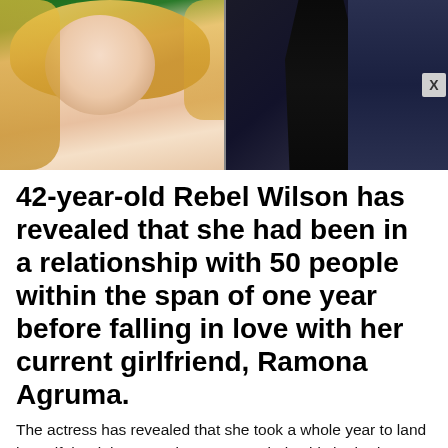[Figure (photo): Two photos side by side: left shows a blonde woman in a green outfit, right shows a woman in a black dress against a dark background]
42-year-old Rebel Wilson has revealed that she had been in a relationship with 50 people within the span of one year before falling in love with her current girlfriend, Ramona Agruma.
The actress has revealed that she took a whole year to land herself the right romantic partner. Rebel said she had gone on dates with mutual friends as well as people from celebrity dating app Raya.